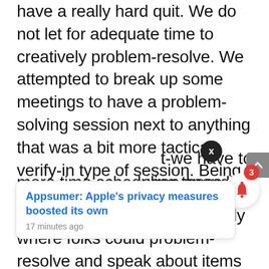have a really hard quit. We do not let for adequate time to creatively problem-resolve. We attempted to break up some meetings to have a problem-solving session next to anything that was a bit more tactical verify-in type of session. Being purposeful on producing moments for innovation exactly where folks could problem-resolve and speak about items more freely and much less scheduled. We located that operates pretty a bit, to have these sorts of environments. Big breaks of time exactly where we can have that rather of attempting to say, we want to socially connect. I do assume that we, as humans, want to socially connect, but at work to drive …t-we have to …egan spending more time scheduling these events versus the social events.
[Figure (screenshot): Notification card overlay showing 'Appsumer: Apple's privacy measures boosted its own' posted 17 minutes ago, with a close (X) button and a notification bell with badge showing 3, and a scroll-up arrow button.]